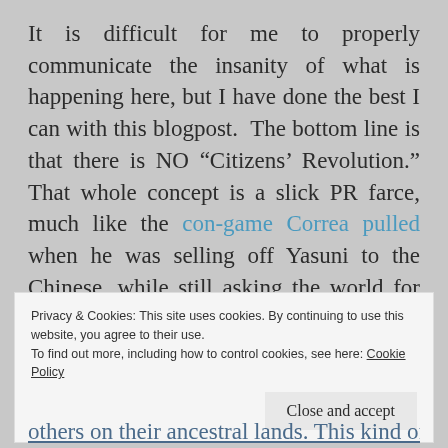It is difficult for me to properly communicate the insanity of what is happening here, but I have done the best I can with this blogpost.  The bottom line is that there is NO “Citizens’ Revolution.” That whole concept is a slick PR farce, much like the con-game Correa pulled when he was selling off Yasuni to the Chinese, while still asking the world for donations to a fund which would keep that oil in the ground.
Privacy & Cookies: This site uses cookies. By continuing to use this website, you agree to their use.
To find out more, including how to control cookies, see here: Cookie Policy
Close and accept
others on their ancestral lands. This kind of